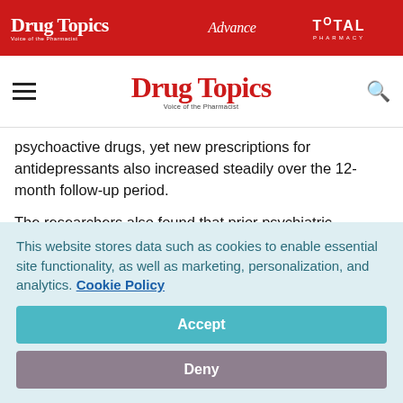Drug Topics | Advance | TOTAL PHARMACY
Drug Topics — Voice of the Pharmacist
psychoactive drugs, yet new prescriptions for antidepressants also increased steadily over the 12-month follow-up period.
The researchers also found that prior psychiatric diagnoses were more common in the critically ill cohort than in the hospital and general population cohorts. Approximately 6% of critically ill patients had one or more psychiatric diagnoses
This website stores data such as cookies to enable essential site functionality, as well as marketing, personalization, and analytics. Cookie Policy
Accept
Deny